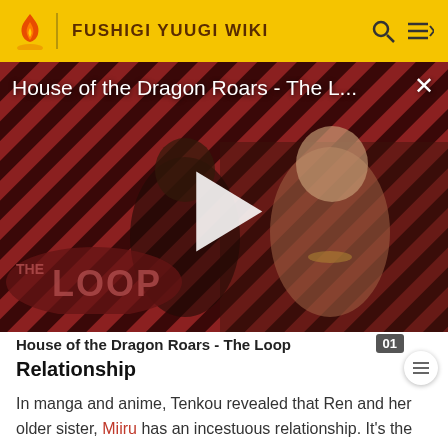FUSHIGI YUUGI WIKI
[Figure (screenshot): Video thumbnail for 'House of the Dragon Roars - The L...' showing two characters against a red diagonal stripe background with 'THE LOOP' logo and a white play button overlay. A close (X) button is in the top right.]
House of the Dragon Roars - The Loop
Relationship
In manga and anime, Tenkou revealed that Ren and her older sister, Miiru has an incestuous relationship. It's the